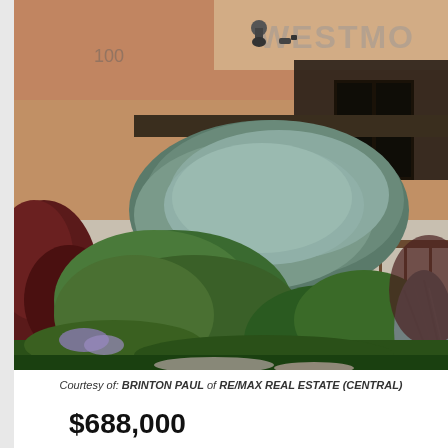[Figure (photo): Exterior photo of a brick commercial/residential building with signage reading 'WESTMO...' at top right, and lush landscaping in the foreground featuring a blue spruce tree on a pole, ferns, and various shrubs and ornamental grasses. A security camera is visible on the building facade.]
Courtesy of: BRINTON PAUL of RE/MAX REAL ESTATE (CENTRAL)
$688,000